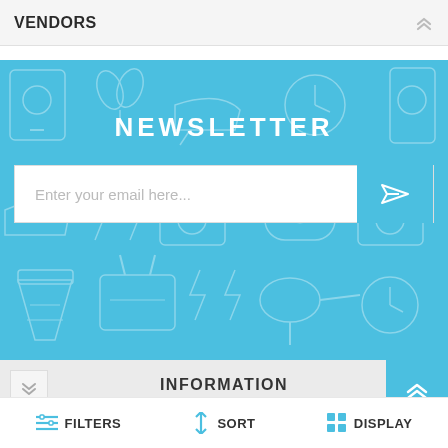VENDORS
[Figure (screenshot): Newsletter signup section with light blue background showing line-art icons of household electronics and appliances. Contains NEWSLETTER heading and email input field with send button.]
Enter your email here...
INFORMATION
FILTERS
SORT
DISPLAY